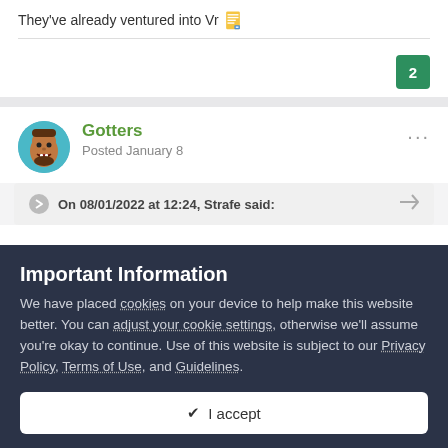They've already ventured into Vr 📋
2
Gotters
Posted January 8
On 08/01/2022 at 12:24, Strafe said:
Important Information
We have placed cookies on your device to help make this website better. You can adjust your cookie settings, otherwise we'll assume you're okay to continue. Use of this website is subject to our Privacy Policy, Terms of Use, and Guidelines.
✔ I accept